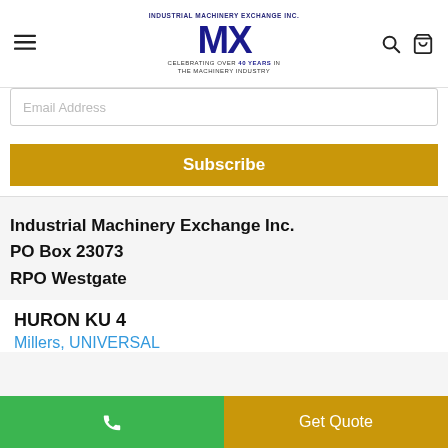INDUSTRIAL MACHINERY EXCHANGE INC. MX CELEBRATING OVER 40 YEARS IN THE MACHINERY INDUSTRY
Email Address
Subscribe
Industrial Machinery Exchange Inc.
PO Box 23073
RPO Westgate
HURON KU 4
Millers, UNIVERSAL
Get Quote